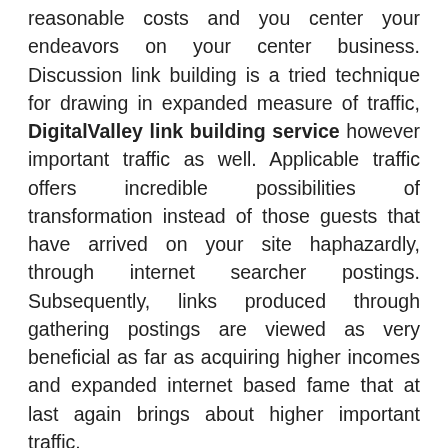reasonable costs and you center your endeavors on your center business. Discussion link building is a tried technique for drawing in expanded measure of traffic, DigitalValley link building service however important traffic as well. Applicable traffic offers incredible possibilities of transformation instead of those guests that have arrived on your site haphazardly, through internet searcher postings. Subsequently, links produced through gathering postings are viewed as very beneficial as far as acquiring higher incomes and expanded internet based fame that at last again brings about higher important traffic.
On the off chance that you are tight on financial plan and cannot burn through immense measures of cash on recruiting master experts handle your link building for you, there is